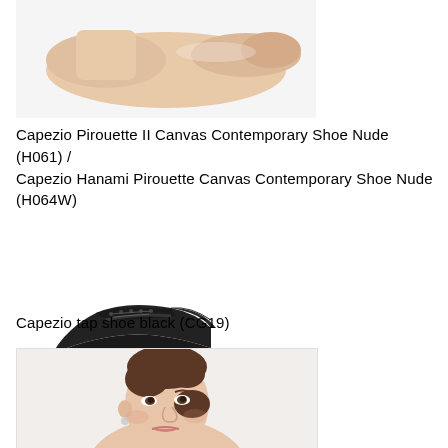[Figure (photo): Capezio Pirouette II Canvas Contemporary Shoe in Nude color, showing the bottom/sole of a nude-colored dance shoe on a white/light background]
Capezio Pirouette II Canvas Contemporary Shoe Nude (H061) / Capezio Hanami Pirouette Canvas Contemporary Shoe Nude (H064W)
[Figure (photo): Capezio tap shoe in black (CG19), a black lace-up oxford-style tap shoe viewed from the side on a white background]
Capezio tap shoe black (CG19)
[Figure (photo): Woman with brown hair in an updo, wearing minimal makeup, shown from the neck up against a light background, partially cropped]